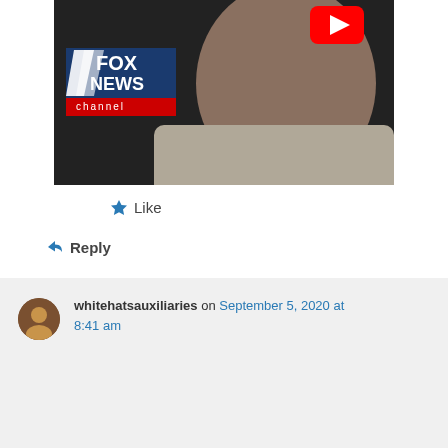[Figure (screenshot): Screenshot of a Fox News video thumbnail showing a man's face with Fox News channel logo on the left and a YouTube play button icon in the upper right corner]
★ Like
↪ Reply
whitehatsauxiliaries on September 5, 2020 at 8:41 am
Kyle was defending himself, period.

The Bolshevik apparatchiks who charged him with a crime, and not the slavering proles who attacked him, need to be lined up and shot themselves for clearly violating